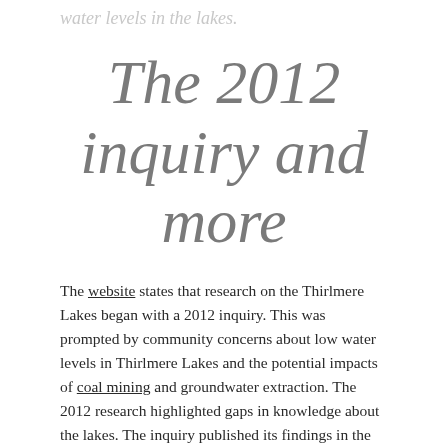water levels in the lakes.
The 2012 inquiry and more
The website states that research on the Thirlmere Lakes began with a 2012 inquiry. This was prompted by community concerns about low water levels in Thirlmere Lakes and the potential impacts of coal mining and groundwater extraction. The 2012 research highlighted gaps in knowledge about the lakes. The inquiry published its findings in the Thirlmere Lakes Inquiry: Final Report of the Independent Committee. The NSW Chief Scientist reviewed the 2012 findings and water monitoring was